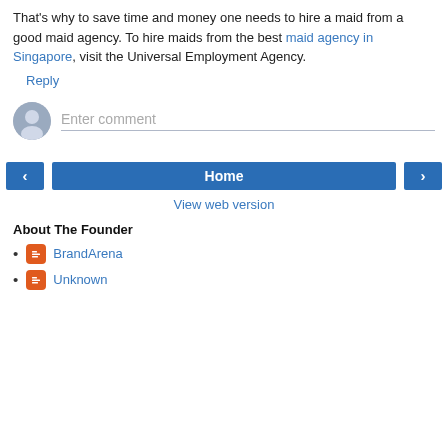That's why to save time and money one needs to hire a maid from a good maid agency. To hire maids from the best maid agency in Singapore, visit the Universal Employment Agency.
Reply
[Figure (other): Comment input area with avatar icon and placeholder text 'Enter comment']
[Figure (other): Navigation buttons: left arrow, Home, right arrow, and View web version link]
About The Founder
BrandArena
Unknown